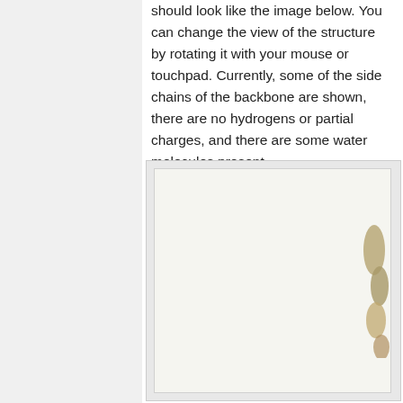should look like the image below. You can change the view of the structure by rotating it with your mouse or touchpad. Currently, some of the side chains of the backbone are shown, there are no hydrogens or partial charges, and there are some water molecules present.
[Figure (illustration): A molecular structure visualization shown in a framed box. The image shows a partial view of a protein or molecular structure rendered in a tan/gold color, visible at the right edge of the frame. The background of the frame is light/white.]